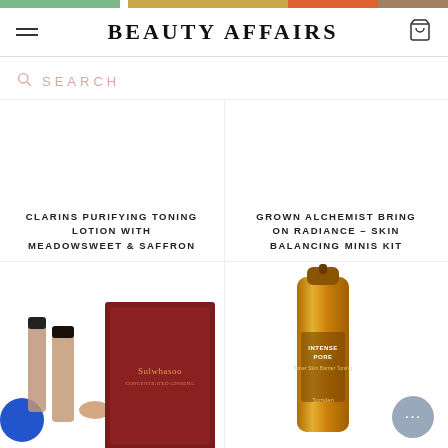BEAUTY AFFAIRS
SEARCH
CLARINS PURIFYING TONING LOTION WITH MEADOWSWEET & SAFFRON
GROWN ALCHEMIST BRING ON RADIANCE - SKIN BALANCING MINIS KIT
[Figure (photo): Sulwhasoo skincare gift set with dark red box and multiple product bottles]
[Figure (photo): Intense Pore gold toner bottle by Torriden]